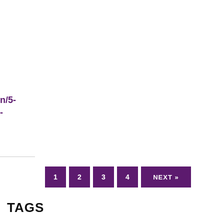n/5-
-
1  2  3  4  NEXT »
TAGS